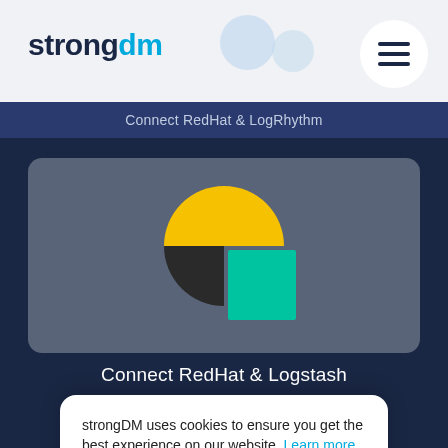[Figure (logo): strongDM logo — bold dark navy 'strong' text followed by cyan 'dm' stylized text]
Connect RedHat & LogRhythm
[Figure (logo): LogRhythm logo mark — yellow semicircle top-left, black semicircle bottom-left, teal rectangle bottom-right, forming a square divided icon]
Connect RedHat & Logstash
strongDM uses cookies to ensure you get the best experience on our website. Learn more
Got it!